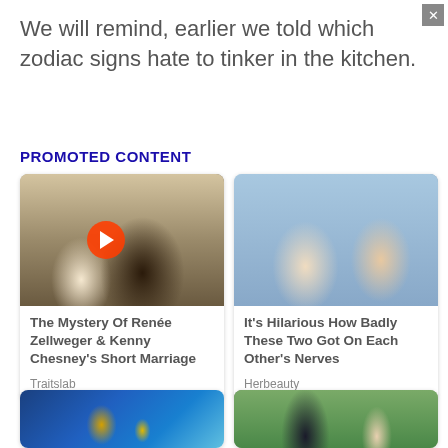We will remind, earlier we told which zodiac signs hate to tinker in the kitchen.
PROMOTED CONTENT
[Figure (photo): Couple embracing, man in cowboy hat, with video play button overlay. Caption: The Mystery Of Renée Zellweger & Kenny Chesney's Short Marriage. Source: Traitslab]
[Figure (photo): Man and woman smiling together. Caption: It's Hilarious How Badly These Two Got On Each Other's Nerves. Source: Herbeauty]
[Figure (photo): Animated game characters with coin]
[Figure (photo): Two people near a vehicle outdoors]